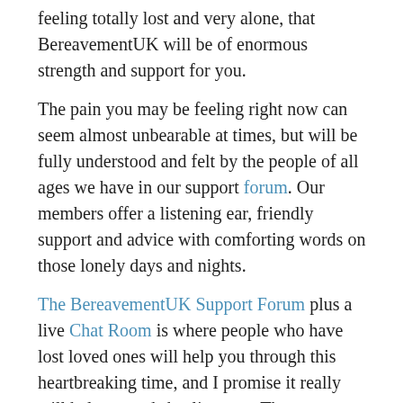feeling totally lost and very alone, that BereavementUK will be of enormous strength and support for you.
The pain you may be feeling right now can seem almost unbearable at times, but will be fully understood and felt by the people of all ages we have in our support forum. Our members offer a listening ear, friendly support and advice with comforting words on those lonely days and nights.
The BereavementUK Support Forum plus a live Chat Room is where people who have lost loved ones will help you through this heartbreaking time, and I promise it really will help towards healing you. There are no professionals here, just people like yourself who by using their own experiences, will enable them to support and guide you through the grief, pain, anger, helplessness & loneliness you are now feeling.  You are not alone - come and join what is probably one of the best bereavement support groups on the internet so come see for yourself.
There is no charge, no payment is asked for ever, we do not sell books or services. You can join straight away